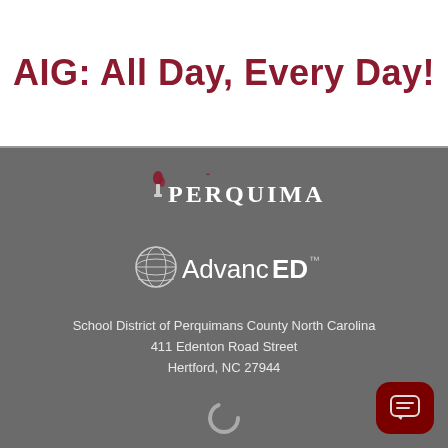AIG: All Day, Every Day!
[Figure (logo): Perquimans school district logo with stylized torch and text PERQUIMANS]
[Figure (logo): AdvancED logo with globe icon and text AdvancED]
School District of Perquimans County North Carolina
411 Edenton Road Street
Hertford, NC 27944
[Figure (logo): Small circular spinner/loading icon]
This institution is an equal opportunity provider.